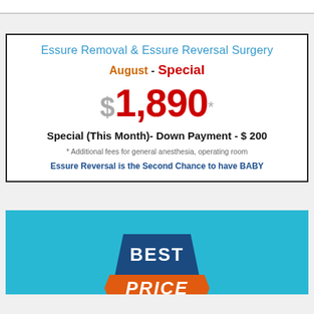Essure Removal & Essure Reversal Surgery
August - Special
$1,890 *
Special (This Month)- Down Payment - $ 200
* Additional fees for general anesthesia, operating room
Essure Reversal is the Second Chance to have BABY
[Figure (infographic): Best Price badge/seal graphic on teal background with orange ribbon and dark blue trapezoid header showing BEST PRICE text]